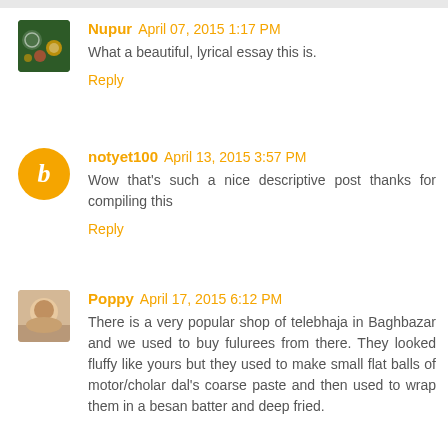Nupur  April 07, 2015 1:17 PM
What a beautiful, lyrical essay this is.
Reply
notyet100  April 13, 2015 3:57 PM
Wow that's such a nice descriptive post thanks for compiling this
Reply
Poppy  April 17, 2015 6:12 PM
There is a very popular shop of telebhaja in Baghbazar and we used to buy fulurees from there. They looked fluffy like yours but they used to make small flat balls of motor/cholar dal's coarse paste and then used to wrap them in a besan batter and deep fried.
Reply